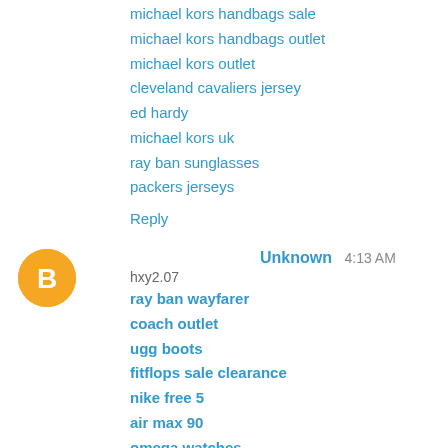michael kors handbags sale
michael kors handbags outlet
michael kors outlet
cleveland cavaliers jersey
ed hardy
michael kors uk
ray ban sunglasses
packers jerseys
Reply
Unknown  4:13 AM
hxy2.07
ray ban wayfarer
coach outlet
ugg boots
fitflops sale clearance
nike free 5
air max 90
omega watches
true religion sale
ugg boots